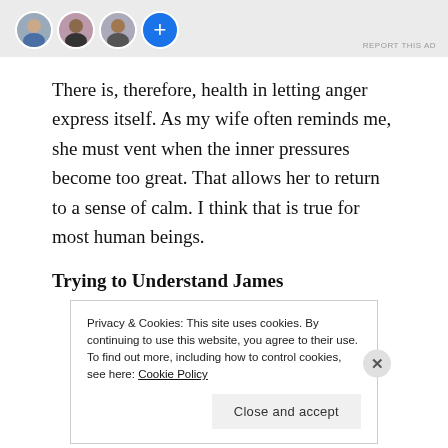[Figure (illustration): Advertisement banner with three circular avatar photos and a blue plus button icon]
There is, therefore, health in letting anger express itself. As my wife often reminds me, she must vent when the inner pressures become too great. That allows her to return to a sense of calm. I think that is true for most human beings.
Trying to Understand James
Privacy & Cookies: This site uses cookies. By continuing to use this website, you agree to their use.
To find out more, including how to control cookies, see here: Cookie Policy
Close and accept